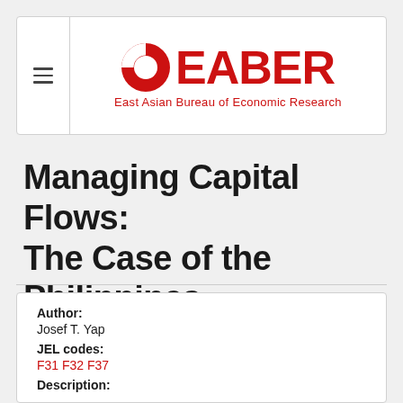[Figure (logo): EABER logo: red circle with white inner circle, followed by large red EABER text, and subtitle 'East Asian Bureau of Economic Research']
Managing Capital Flows: The Case of the Philippines
Author:
Josef T. Yap
JEL codes:
F31 F32 F37
Description: